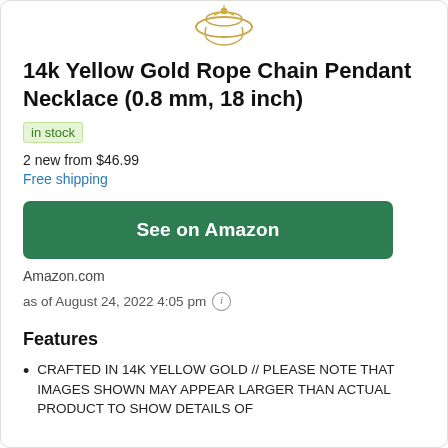[Figure (photo): Small gold necklace/pendant product image at the top of the page]
14k Yellow Gold Rope Chain Pendant Necklace (0.8 mm, 18 inch)
in stock
2 new from $46.99
Free shipping
See on Amazon
Amazon.com
as of August 24, 2022 4:05 pm
Features
CRAFTED IN 14K YELLOW GOLD // PLEASE NOTE THAT IMAGES SHOWN MAY APPEAR LARGER THAN ACTUAL PRODUCT TO SHOW DETAILS OF